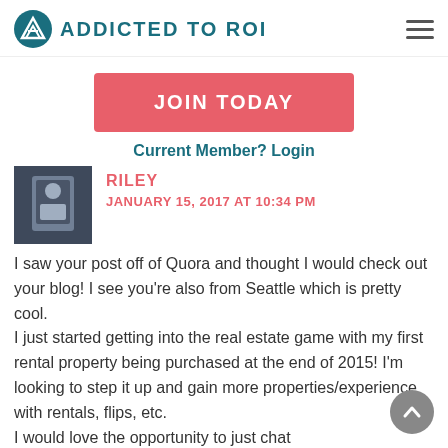ADDICTED TO ROI
JOIN TODAY
Current Member? Login
RILEY
JANUARY 15, 2017 AT 10:34 PM
I saw your post off of Quora and thought I would check out your blog! I see you’re also from Seattle which is pretty cool.
I just started getting into the real estate game with my first rental property being purchased at the end of 2015! I’m looking to step it up and gain more properties/experience with rentals, flips, etc.
I would love the opportunity to just chat